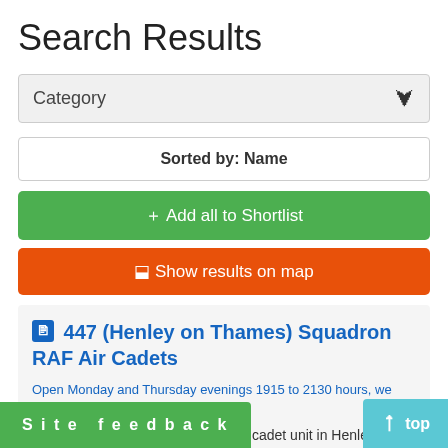Search Results
Category
Sorted by: Name
+ Add all to Shortlist
Show results on map
447 (Henley on Thames) Squadron RAF Air Cadets
Open Monday and Thursday evenings 1915 to 2130 hours, we also have weekend activities
We are the largets and most active cadet unit in Henley on rounding area. We are open to 12 to 17 y nd and gender who may stay with us to t
Site feedback
top